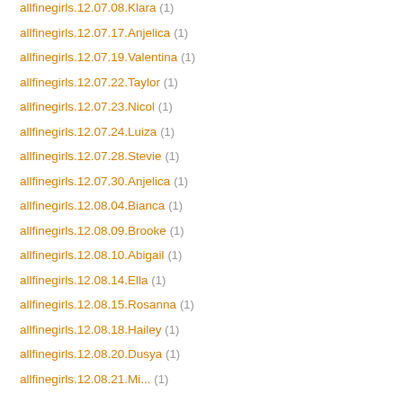allfinegirls.12.07.08.Klara (1)
allfinegirls.12.07.17.Anjelica (1)
allfinegirls.12.07.19.Valentina (1)
allfinegirls.12.07.22.Taylor (1)
allfinegirls.12.07.23.Nicol (1)
allfinegirls.12.07.24.Luiza (1)
allfinegirls.12.07.28.Stevie (1)
allfinegirls.12.07.30.Anjelica (1)
allfinegirls.12.08.04.Bianca (1)
allfinegirls.12.08.09.Brooke (1)
allfinegirls.12.08.10.Abigail (1)
allfinegirls.12.08.14.Ella (1)
allfinegirls.12.08.15.Rosanna (1)
allfinegirls.12.08.18.Hailey (1)
allfinegirls.12.08.20.Dusya (1)
allfinegirls.12.08.21.Mi... (1)